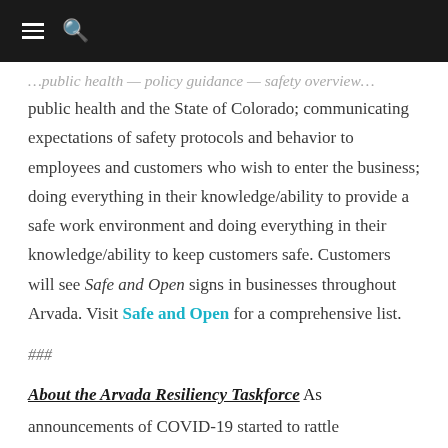[navigation bar with menu and search icons]
public health and the State of Colorado; communicating expectations of safety protocols and behavior to employees and customers who wish to enter the business; doing everything in their knowledge/ability to provide a safe work environment and doing everything in their knowledge/ability to keep customers safe. Customers will see Safe and Open signs in businesses throughout Arvada. Visit Safe and Open for a comprehensive list.
###
About the Arvada Resiliency Taskforce As
announcements of COVID-19 started to rattle communities, the Arvada organization...